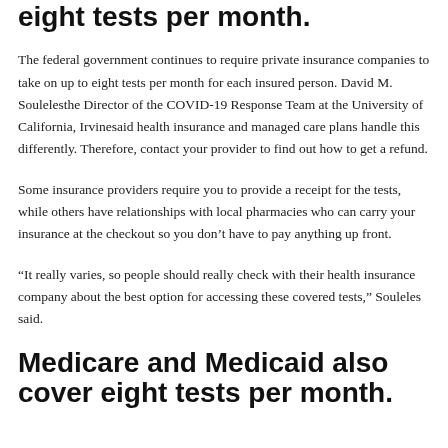eight tests per month.
The federal government continues to require private insurance companies to take on up to eight tests per month for each insured person. David M. Soulelesthe Director of the COVID-19 Response Team at the University of California, Irvinesaid health insurance and managed care plans handle this differently. Therefore, contact your provider to find out how to get a refund.
Some insurance providers require you to provide a receipt for the tests, while others have relationships with local pharmacies who can carry your insurance at the checkout so you don't have to pay anything up front.
“It really varies, so people should really check with their health insurance company about the best option for accessing these covered tests,” Souleles said.
Medicare and Medicaid also cover eight tests per month.